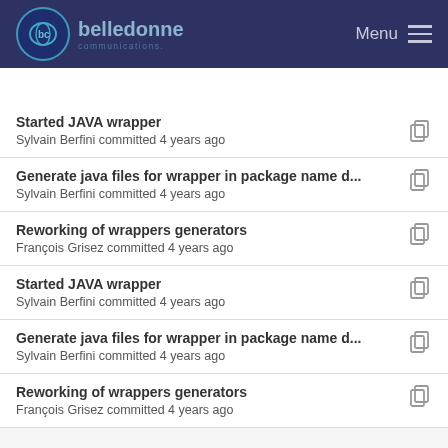belledonne communications — Menu
Started JAVA wrapper
Sylvain Berfini committed 4 years ago
Generate java files for wrapper in package name d...
Sylvain Berfini committed 4 years ago
Reworking of wrappers generators
François Grisez committed 4 years ago
Started JAVA wrapper
Sylvain Berfini committed 4 years ago
Generate java files for wrapper in package name d...
Sylvain Berfini committed 4 years ago
Reworking of wrappers generators
François Grisez committed 4 years ago